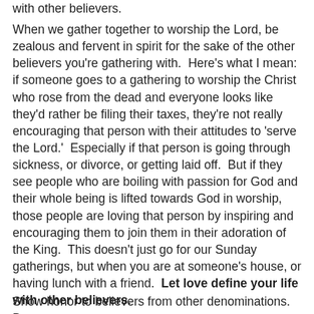with other believers.
When we gather together to worship the Lord, be zealous and fervent in spirit for the sake of the other believers you're gathering with.  Here's what I mean: if someone goes to a gathering to worship the Christ who rose from the dead and everyone looks like they'd rather be filing their taxes, they're not really encouraging that person with their attitudes to 'serve the Lord.'  Especially if that person is going through sickness, or divorce, or getting laid off.  But if they see people who are boiling with passion for God and their whole being is lifted towards God in worship, those people are loving that person by inspiring and encouraging them to join them in their adoration of the King.  This doesn't just go for our Sunday gatherings, but when you are at someone's house, or having lunch with a friend.  Let love define your life with other believers.
Show honor to believers from other denominations.  Be